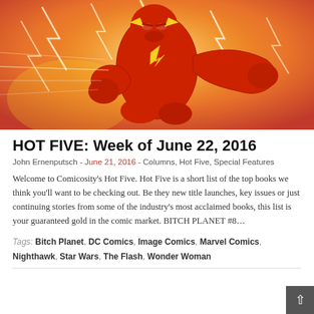[Figure (illustration): Comic book artwork of The Flash superhero in red costume with lightning bolt emblem, running at high speed with lightning surrounding him, on an orange/yellow background]
HOT FIVE: Week of June 22, 2016
John Ernenputsch - June 21, 2016 - Columns, Hot Five, Special Features
Welcome to Comicosity's Hot Five. Hot Five is a short list of the top books we think you'll want to be checking out. Be they new title launches, key issues or just continuing stories from some of the industry's most acclaimed books, this list is your guaranteed gold in the comic market. BITCH PLANET #8…
Tags: Bitch Planet, DC Comics, Image Comics, Marvel Comics, Nighthawk, Star Wars, The Flash, Wonder Woman